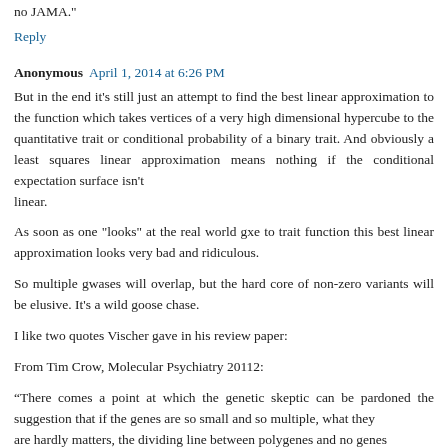no JAMA."
Reply
Anonymous  April 1, 2014 at 6:26 PM
But in the end it's still just an attempt to find the best linear approximation to the function which takes vertices of a very high dimensional hypercube to the quantitative trait or conditional probability of a binary trait. And obviously a least squares linear approximation means nothing if the conditional expectation surface isn't
linear.
As soon as one "looks" at the real world gxe to trait function this best linear approximation looks very bad and ridiculous.
So multiple gwases will overlap, but the hard core of non-zero variants will be elusive. It's a wild goose chase.
I like two quotes Vischer gave in his review paper:
From Tim Crow, Molecular Psychiatry 20112:
“There comes a point at which the genetic skeptic can be pardoned the suggestion that if the genes are so small and so multiple, what they
are hardly matters, the dividing line between polygenes and no genes